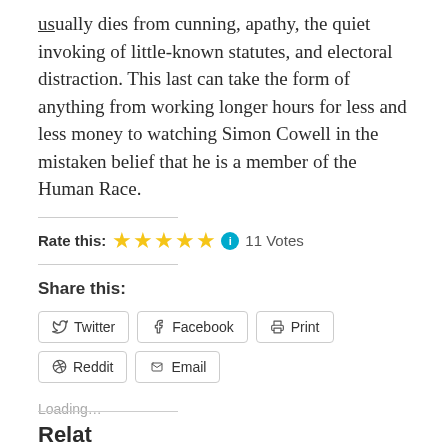usually dies from cunning, apathy, the quiet invoking of little-known statutes, and electoral distraction. This last can take the form of anything from working longer hours for less and less money to watching Simon Cowell in the mistaken belief that he is a member of the Human Race.
Rate this: ★★★★★ ℹ 11 Votes
Share this:
Twitter  Facebook  Print  Reddit  Email
Loading...
Related